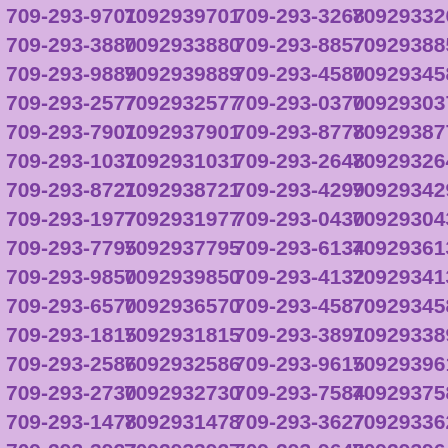| Formatted Number | Unformatted Number | Formatted Number | Unformatted Number |
| --- | --- | --- | --- |
| 709-293-9701 | 7092939701 | 709-293-3268 | 7092933268 |
| 709-293-3880 | 7092933880 | 709-293-8857 | 7092938857 |
| 709-293-9889 | 7092939889 | 709-293-4580 | 7092934580 |
| 709-293-2577 | 7092932577 | 709-293-0370 | 7092930370 |
| 709-293-7901 | 7092937901 | 709-293-8778 | 7092938778 |
| 709-293-1031 | 7092931031 | 709-293-2648 | 7092932648 |
| 709-293-8721 | 7092938721 | 709-293-4299 | 7092934299 |
| 709-293-1977 | 7092931977 | 709-293-0430 | 7092930430 |
| 709-293-7795 | 7092937795 | 709-293-6134 | 7092936134 |
| 709-293-9850 | 7092939850 | 709-293-4132 | 7092934132 |
| 709-293-6570 | 7092936570 | 709-293-4587 | 7092934587 |
| 709-293-1815 | 7092931815 | 709-293-3891 | 7092933891 |
| 709-293-2586 | 7092932586 | 709-293-9615 | 7092939615 |
| 709-293-2730 | 7092932730 | 709-293-7584 | 7092937584 |
| 709-293-1478 | 7092931478 | 709-293-3627 | 7092933627 |
| 709-293-3927 | 7092933927 | 709-293-9648 | 7092939648 |
| 709-293-0138 | 7092930138 | 709-293-1849 | 7092931849 |
| 709-293-4494 | 7092934494 | 709-293-9248 | 7092939248 |
| 709-293-8956 | 7092938956 | 709-293-7502 | 7092937502 |
| 709-293-8301 | 7092938301 | 709-293-0671 | 7092930671 |
| 709-293-8184 | 7092938184 | 709-293-2513 | 7092932513 |